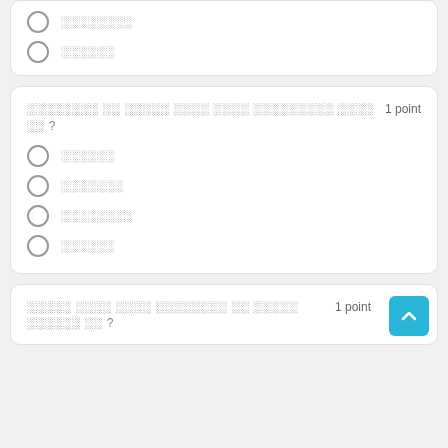░░░░░░░░
░░░░░░
░░░░░░░░ ░░ ░░░░░ ░░░░ ░░░░ ░░░░░░░░░ ░░░░ ░░ ? 1 point
░░░░░░
░░░░░░░
░░░░░░░░
░░░░░░
░░░░░ ░░░░ ░░░░ ░░░░░░░░ ░░ ░░░░░ ░░░░░░ ░░ ? 1 point